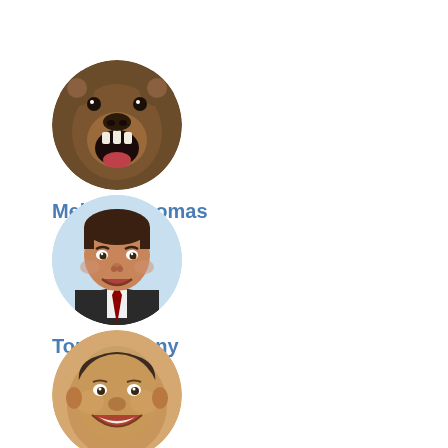[Figure (photo): Circular avatar of a roaring bear (brown bear with open mouth)]
Melanie Thomas
[Figure (photo): Circular avatar of a smiling middle-aged man in a suit against a light blue background]
Tom Anthony
[Figure (photo): Circular avatar of a bald man with a large grinning face]
Brent Llewellyn